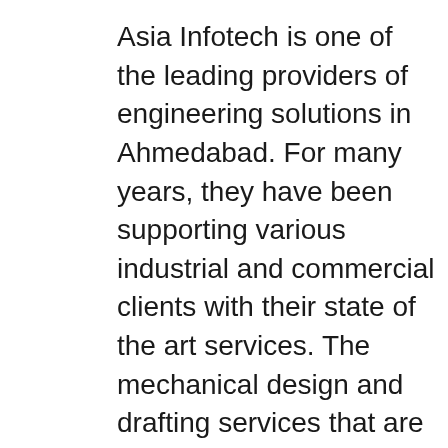Asia Infotech is one of the leading providers of engineering solutions in Ahmedabad. For many years, they have been supporting various industrial and commercial clients with their state of the art services. The mechanical design and drafting services that are offered by Asia Infotech are used by companies both in India as well as in overseas territories and are known for their high level of efficiency. Asia Infotech is among the